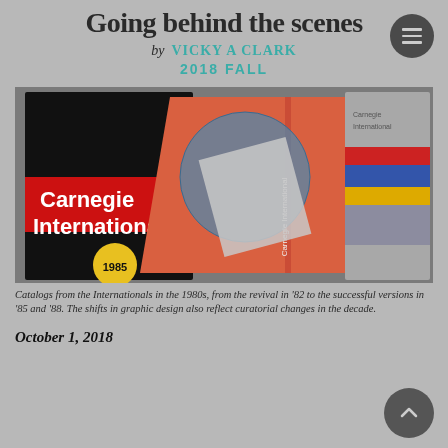Going behind the scenes
by VICKY A CLARK
2018 FALL
[Figure (photo): Three Carnegie International exhibition catalogs from the 1980s fanned out. The leftmost is a black catalog with red band reading 'Carnegie International' and a yellow circle marked '1985'. The middle is a red/salmon catalog. The rightmost has a gray cover with colored horizontal stripes (red, blue, yellow).]
Catalogs from the Internationals in the 1980s, from the revival in '82 to the successful versions in '85 and '88. The shifts in graphic design also reflect curatorial changes in the decade.
October 1, 2018